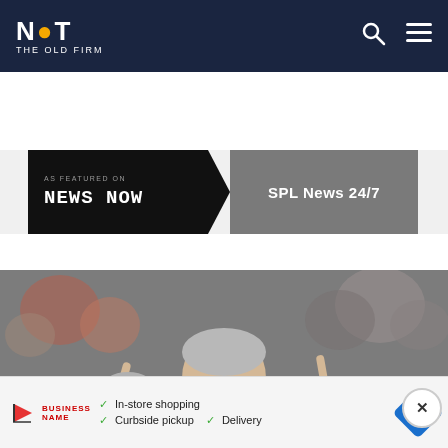NOT THE OLD FIRM
[Figure (logo): NOT The Old Firm website logo with pixelated football icon]
[Figure (infographic): News Now banner: AS FEATURED ON News Now | SPL News 24/7]
[Figure (photo): Football manager with grey hair and beard wearing a Joma jacket with St Mirren badge, gesturing with both index fingers, crowd in background]
[Figure (infographic): Advertisement banner: In-store shopping, Curbside pickup, Delivery]